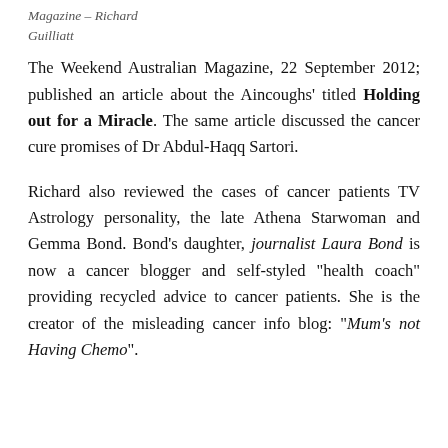Magazine – Richard Guilliatt
The Weekend Australian Magazine, 22 September 2012; published an article about the Aincoughs' titled Holding out for a Miracle. The same article discussed the cancer cure promises of Dr Abdul-Haqq Sartori.
Richard also reviewed the cases of cancer patients TV Astrology personality, the late Athena Starwoman and Gemma Bond. Bond's daughter, journalist Laura Bond is now a cancer blogger and self-styled "health coach" providing recycled advice to cancer patients. She is the creator of the misleading cancer info blog: "Mum's not Having Chemo".